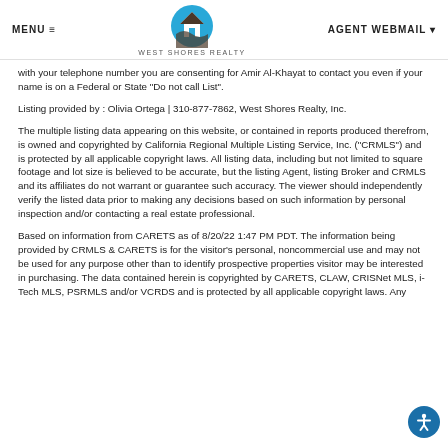MENU ≡   WEST SHORES REALTY   AGENT WEBMAIL ▾
with your telephone number you are consenting for Amir Al-Khayat to contact you even if your name is on a Federal or State "Do not call List".
Listing provided by : Olivia Ortega | 310-877-7862, West Shores Realty, Inc.
The multiple listing data appearing on this website, or contained in reports produced therefrom, is owned and copyrighted by California Regional Multiple Listing Service, Inc. ("CRMLS") and is protected by all applicable copyright laws. All listing data, including but not limited to square footage and lot size is believed to be accurate, but the listing Agent, listing Broker and CRMLS and its affiliates do not warrant or guarantee such accuracy. The viewer should independently verify the listed data prior to making any decisions based on such information by personal inspection and/or contacting a real estate professional.
Based on information from CARETS as of 8/20/22 1:47 PM PDT. The information being provided by CRMLS & CARETS is for the visitor's personal, noncommercial use and may not be used for any purpose other than to identify prospective properties visitor may be interested in purchasing. The data contained herein is copyrighted by CARETS, CLAW, CRISNet MLS, i-Tech MLS, PSRMLS and/or VCRDS and is protected by all applicable copyright laws. Any...